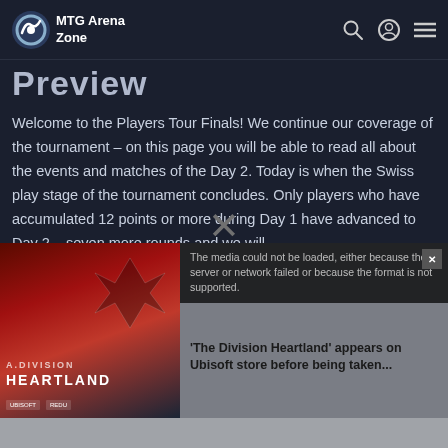MTG Arena Zone
Preview
Welcome to the Players Tour Finals! We continue our coverage of the tournament – on this page you will be able to read all about the events and matches of the Day 2. Today is when the Swiss play stage of the tournament concludes. Only players who have accumulated 12 points or more during Day 1 have advanced to Day 2 – seven more rounds and we will
[Figure (screenshot): Advertisement overlay showing 'The Division Heartland' game promotional image with error message: 'The media could not be loaded, either because the server or network failed or because the format is not supported.' Partial text reads: 'The Division Heartland' appears on Ubisoft store before being taken... with a close X button]
'The Division Heartland' appears on Ubisoft store before being taken...